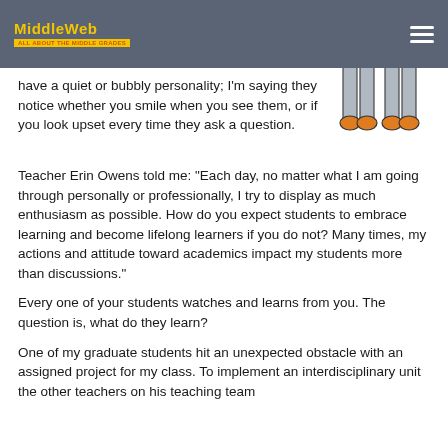MiddleWeb
have a quiet or bubbly personality; I'm saying they notice whether you smile when you see them, or if you look upset every time they ask a question.
[Figure (illustration): Cartoon illustration of legs and feet of two people standing, wearing gray pants and orange shoes]
Teacher Erin Owens told me: “Each day, no matter what I am going through personally or professionally, I try to display as much enthusiasm as possible. How do you expect students to embrace learning and become lifelong learners if you do not? Many times, my actions and attitude toward academics impact my students more than discussions.”
Every one of your students watches and learns from you. The question is, what do they learn?
One of my graduate students hit an unexpected obstacle with an assigned project for my class. To implement an interdisciplinary unit the other teachers on his teaching team